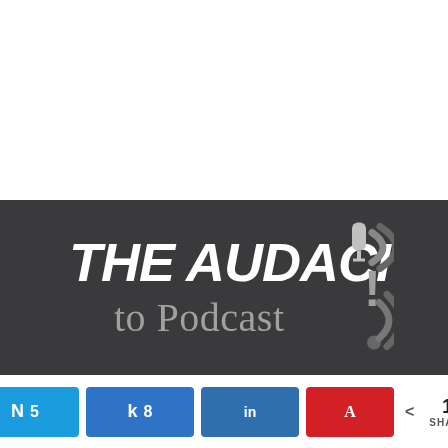[Figure (logo): The Audacity to Podcast logo with microphone icon and wifi symbol, Created by Daniel J. Lewis]
Home
Gear & Tools
Contact
Store
About
My Account
N 5  k 8  in  A  < 13 SHARES